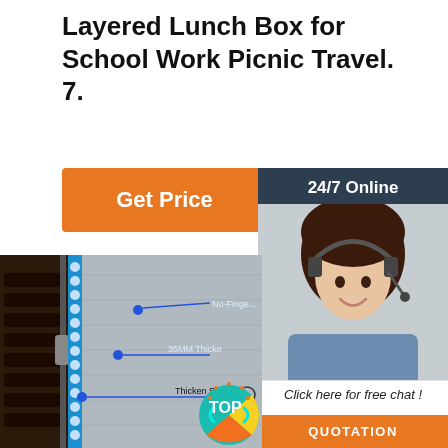Layered Lunch Box for School Work Picnic Travel. 7.
Get Price
24/7 Online
[Figure (photo): Customer service agent woman with headset smiling]
Click here for free chat !
QUOTATION
[Figure (photo): Cross-section diagram of industrial equipment showing No-Finger, 35MM Thicke annotations and Thicken SS Plate label with blue LED lighting strip]
[Figure (infographic): Circular TOP badge with teal arrows and orange/yellow material background]